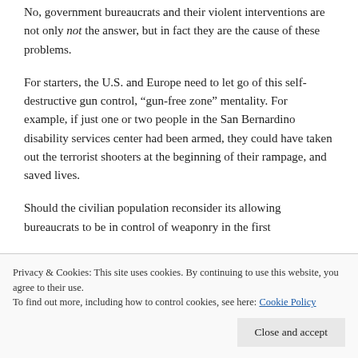No, government bureaucrats and their violent interventions are not only not the answer, but in fact they are the cause of these problems.
For starters, the U.S. and Europe need to let go of this self-destructive gun control, “gun-free zone” mentality. For example, if just one or two people in the San Bernardino disability services center had been armed, they could have taken out the terrorist shooters at the beginning of their rampage, and saved lives.
Should the civilian population reconsider its allowing bureaucrats to be in control of weaponry in the first
Privacy & Cookies: This site uses cookies. By continuing to use this website, you agree to their use.
To find out more, including how to control cookies, see here: Cookie Policy